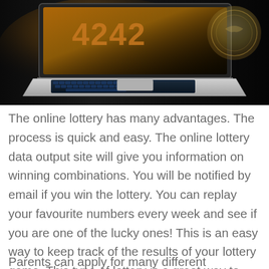[Figure (photo): Laptop with glowing screen showing lottery numbers 4242, dark background with coins/medallion visible]
The online lottery has many advantages. The process is quick and easy. The online lottery data output site will give you information on winning combinations. You will be notified by email if you win the lottery. You can replay your favourite numbers every week and see if you are one of the lucky ones! This is an easy way to keep track of the results of your lottery game. This type of lottery is a great way to spend your free time!
Parents can apply for many different